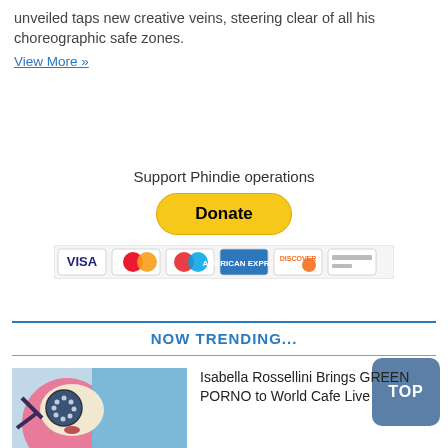unveiled taps new creative veins, steering clear of all his choreographic safe zones.
View More »
[Figure (other): PayPal Donate button with credit card icons (Visa, Mastercard, Discover, etc.) and the label 'Support Phindie operations']
NOW TRENDING...
[Figure (photo): Photo of Isabella Rossellini wearing large round dotted glasses against a pink and blue background]
Isabella Rossellini Brings GREEN PORNO to World Cafe Live